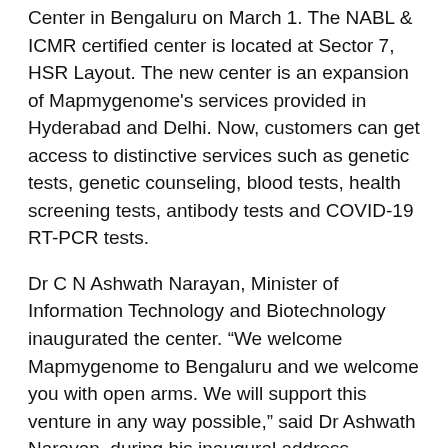Center in Bengaluru on March 1. The NABL & ICMR certified center is located at Sector 7, HSR Layout. The new center is an expansion of Mapmygenome's services provided in Hyderabad and Delhi. Now, customers can get access to distinctive services such as genetic tests, genetic counseling, blood tests, health screening tests, antibody tests and COVID-19 RT-PCR tests.
Dr C N Ashwath Narayan, Minister of Information Technology and Biotechnology inaugurated the center. “We welcome Mapmygenome to Bengaluru and we welcome you with open arms. We will support this venture in any way possible,” said Dr Ashwath Narayan, during his inaugural address. “Mapmygenome’s mission is commendable and it will definitely help ten crore people of the state, in facilitating preventive healthcare,” he said.
Dr Kiran Mazumdar-Shaw, Chairperson of Biocon Limited and Biocon Biologics Limited, was the guest of honour at the ceremony as a prominent stakeholder in